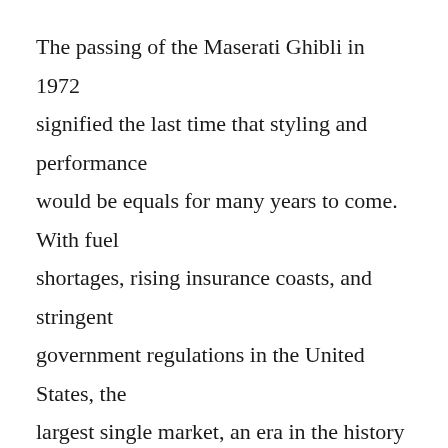The passing of the Maserati Ghibli in 1972 signified the last time that styling and performance would be equals for many years to come. With fuel shortages, rising insurance coasts, and stringent government regulations in the United States, the largest single market, an era in the history of the Italian sports car had come to an end. Arrivederci!
There are many new Italian sports car that easily surpass the performance, quality and handling of these legendary models, but there is something that modern styling, computerized engineering